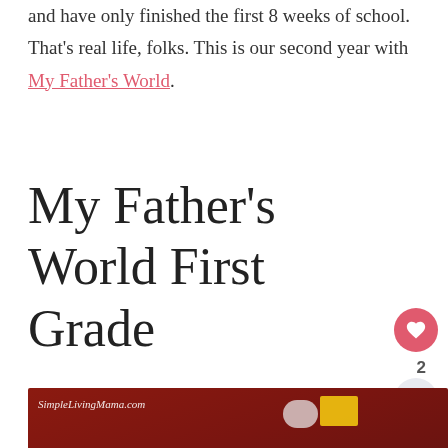and have only finished the first 8 weeks of school. That's real life, folks. This is our second year with My Father's World.
My Father's World First Grade
[Figure (photo): Photo of colorful wooden blocks and craft supplies on a red surface, watermarked SimpleLivingMama.com]